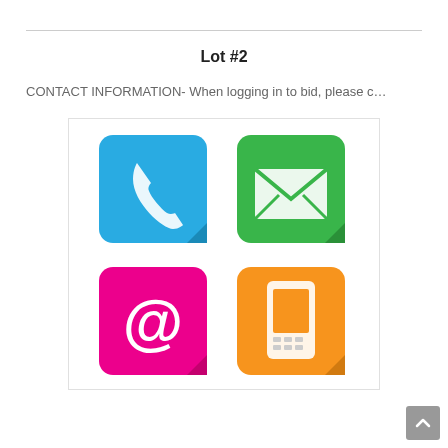Lot #2
CONTACT INFORMATION- When logging in to bid, please c…
[Figure (illustration): Four colorful contact icons arranged in a 2x2 grid: blue phone icon (top-left), green email envelope icon (top-right), pink at-sign icon (bottom-left), orange mobile phone icon (bottom-right). All icons have a folded-corner card style.]